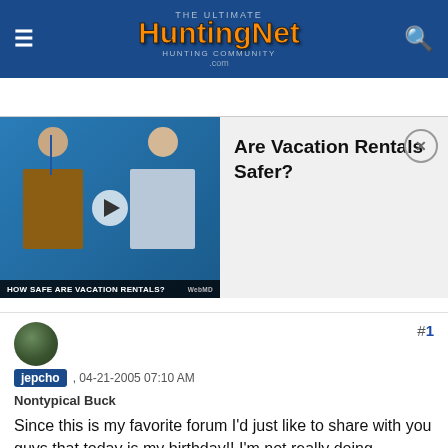HuntingNet.com
[Figure (screenshot): Video ad showing two men in a split-screen interview. Text overlay: 'HOW SAFE ARE VACATION RENTALS?' with WebMD logo. Adjacent text: 'Are Vacation Rentals Safer?' with a close (X) button.]
#1
jepcho , 04-21-2005 07:10 AM
Nontypical Buck
Since this is my favorite forum I'd just like to share with you guys that today is my birthday!! I'm not really doing anything special but I'm 19 now. Only one more year of being a teenager!